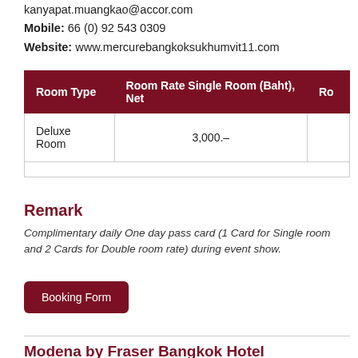kanyapat.muangkao@accor.com
Mobile: 66 (0) 92 543 0309
Website: www.mercurebangkoksukhumvit11.com
| Room Type | Room Rate Single Room (Baht), Net | Ro |
| --- | --- | --- |
| Deluxe Room | 3,000.- |  |
Remark
Complimentary daily One day pass card (1 Card for Single room and 2 Cards for Double room rate) during event show.
Booking Form
Modena by Fraser Bangkok Hotel Residences
[Figure (photo): Hotel room interior with warm lighting, curtains, and colorful wall art featuring luggage figures]